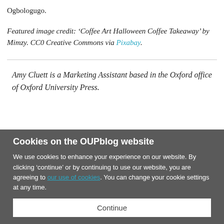Ogbologugo.
Featured image credit: ‘Coffee Art Halloween Coffee Takeaway’ by Mimzy. CC0 Creative Commons via Pixabay.
Amy Cluett is a Marketing Assistant based in the Oxford office of Oxford University Press.
Cookies on the OUPblog website
We use cookies to enhance your experience on our website. By clicking ‘continue’ or by continuing to use our website, you are agreeing to our use of cookies. You can change your cookie settings at any time.